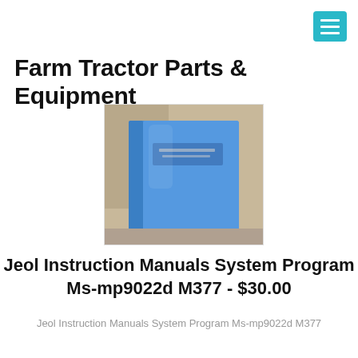Farm Tractor Parts & Equipment
[Figure (photo): A blue instruction manual book/binder photographed on a light surface]
Jeol Instruction Manuals System Program Ms-mp9022d M377 - $30.00
Jeol Instruction Manuals System Program Ms-mp9022d M377